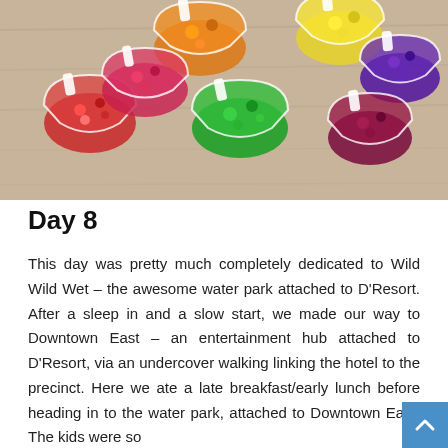[Figure (photo): Heart-shaped clear plastic cups filled with colorful jellies and gummy bears in various colors — red, orange, yellow, green, purple — arranged on a wooden table surface.]
Day 8
This day was pretty much completely dedicated to Wild Wild Wet – the awesome water park attached to D'Resort. After a sleep in and a slow start, we made our way to Downtown East – an entertainment hub attached to D'Resort, via an undercover walking linking the hotel to the precinct. Here we ate a late breakfast/early lunch before heading in to the water park, attached to Downtown East. The kids were so